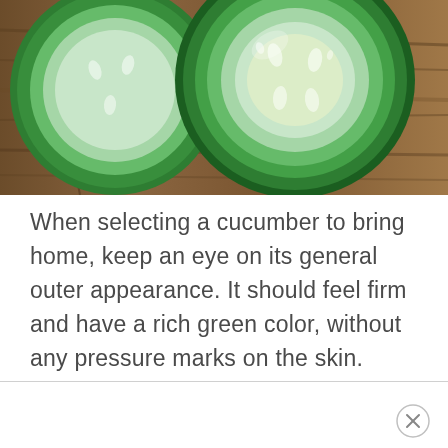[Figure (photo): Close-up photo of sliced cucumber rounds showing seeds in the center, placed on a wooden log/bark surface. The cucumber slices are bright green with visible seeds and inner flesh.]
When selecting a cucumber to bring home, keep an eye on its general outer appearance. It should feel firm and have a rich green color, without any pressure marks on the skin.